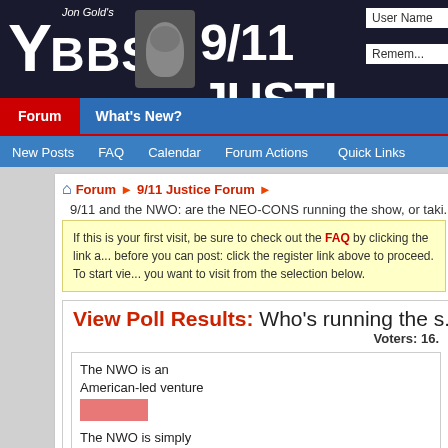[Figure (screenshot): Jon Gold's YBBS 9/11 Justice forum website banner with dark background, large white text 'YBBS' and '9/11 JUSTI...' and a photo of a man making a peace sign]
Forum | What's New?
New Posts | FAQ | Calendar | Forum Actions | Quick Links
Forum > 9/11 Justice Forum >
9/11 and the NWO: are the NEO-CONS running the show, or taki...
If this is your first visit, be sure to check out the FAQ by clicking the link a... before you can post: click the register link above to proceed. To start vie... you want to visit from the selection below.
View Poll Results: Who's running the s...
Voters: 16.
The NWO is an American-led venture
The NWO is simply using the US for its own purpose, just like Nazi Germany